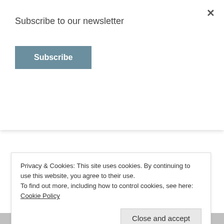Subscribe to our newsletter
Subscribe
★ Like
Reply
Rebecca Maney says:
March 19, 2019 at 10:46 am
Favorite city to visit? It isn't really a city, but a destination. I love
Privacy & Cookies: This site uses cookies. By continuing to use this website, you agree to their use.
To find out more, including how to control cookies, see here: Cookie Policy
Close and accept